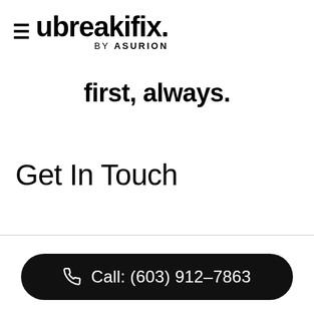≡ ubreakifix. BY asurion
first, always.
Get In Touch
Call: (603) 912-7863